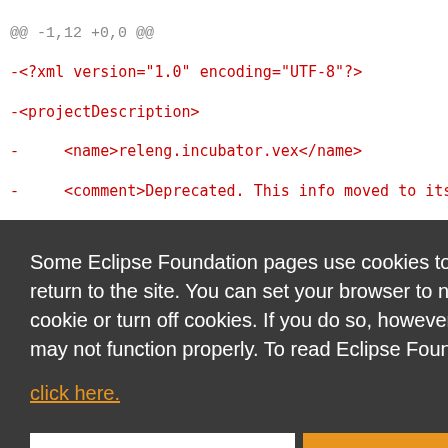@@ -1,12 +0,0 @@
-<?xml version="1.0" encoding="UTF-8"?>
-<projectDescription>
-     <name>releng.incubator.vex</name>
-     <comment>Deprecated. This info moved to its
-          releng.incubator.vex, under releng.maps.
Some Eclipse Foundation pages use cookies to better serve you when you return to the site. You can set your browser to notify you before you receive a cookie or turn off cookies. If you do so, however, some areas of some sites may not function properly. To read Eclipse Foundation Privacy Policy
click here.
Decline
Allow cookies
-     <name>releng.incubator.xsl</name>